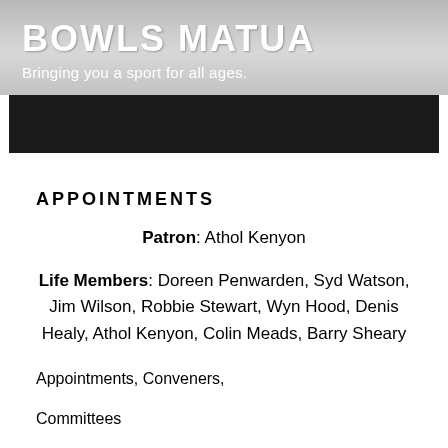BOWLS MATUA
Bringing you a sport for all ages.
APPOINTMENTS
Patron: Athol Kenyon
Life Members: Doreen Penwarden, Syd Watson, Jim Wilson, Robbie Stewart, Wyn Hood, Denis Healy, Athol Kenyon, Colin Meads, Barry Sheary
Appointments, Conveners,
Committees
2019-20